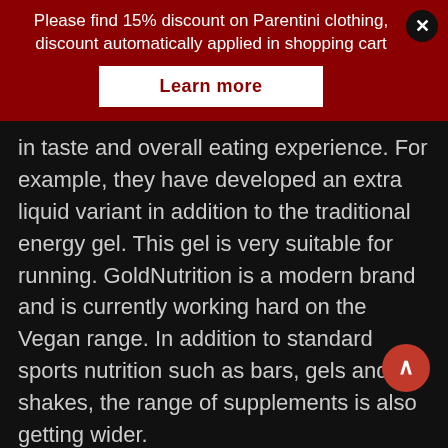Please find 15% discount on Parentini clothing, discount automatically applied in shopping cart
Learn more
in taste and overall eating experience. For example, they have developed an extra liquid variant in addition to the traditional energy gel. This gel is very suitable for running. GoldNutrition is a modern brand and is currently working hard on the Vegan range. In addition to standard sports nutrition such as bars, gels and shakes, the range of supplements is also getting wider.
Much of the GoldNutrition range is doping proof. This means that every new